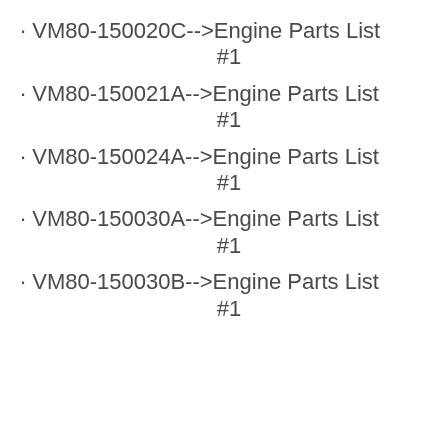· VM80-150020C-->Engine Parts List #1
· VM80-150021A-->Engine Parts List #1
· VM80-150024A-->Engine Parts List #1
· VM80-150030A-->Engine Parts List #1
· VM80-150030B-->Engine Parts List #1